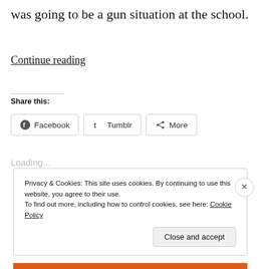was going to be a gun situation at the school.
Continue reading
Share this:
[Figure (other): Share buttons for Facebook, Tumblr, and More]
Loading...
Privacy & Cookies: This site uses cookies. By continuing to use this website, you agree to their use.
To find out more, including how to control cookies, see here: Cookie Policy
Close and accept